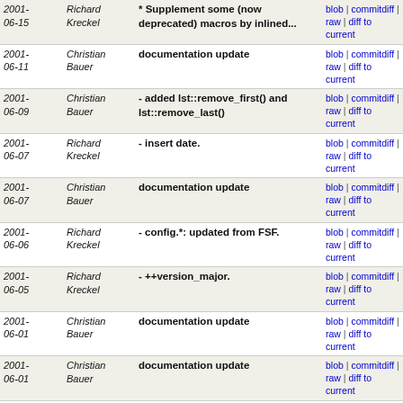| Date | Author | Message | Links |
| --- | --- | --- | --- |
| 2001-06-15 | Richard Kreckel | * Supplement some (now deprecated) macros by inlined... | blob | commitdiff | raw | diff to current |
| 2001-06-11 | Christian Bauer | documentation update | blob | commitdiff | raw | diff to current |
| 2001-06-09 | Christian Bauer | - added lst::remove_first() and lst::remove_last() | blob | commitdiff | raw | diff to current |
| 2001-06-07 | Richard Kreckel | - insert date. | blob | commitdiff | raw | diff to current |
| 2001-06-07 | Christian Bauer | documentation update | blob | commitdiff | raw | diff to current |
| 2001-06-06 | Richard Kreckel | - config.*: updated from FSF. | blob | commitdiff | raw | diff to current |
| 2001-06-05 | Richard Kreckel | - ++version_major. | blob | commitdiff | raw | diff to current |
| 2001-06-01 | Christian Bauer | documentation update | blob | commitdiff | raw | diff to current |
| 2001-06-01 | Christian Bauer | documentation update | blob | commitdiff | raw | diff to current |
| 2001-05-27 | Christian Bauer | - added symmetrize() and antisymmetrize() functions | blob | commitdiff | raw | diff to current |
| 2001-05-24 | Christian Bauer | - first implementation of pattern matching | blob | commitdiff | raw | diff to current |
| 2001-05-19 | Christian Bauer | documentation update | blob | commitdiff | raw | diff to current |
| 2001-05-18 | Christian Bauer | documentation update | blob | commitdiff | raw | diff to current |